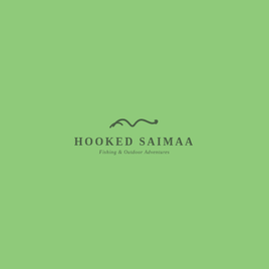[Figure (logo): Hooked Saimaa logo: a stylized fish/wave icon above bold uppercase text 'HOOKED SAIMAA' with italic tagline 'Fishing & Outdoor Adventures' on a sage green background]